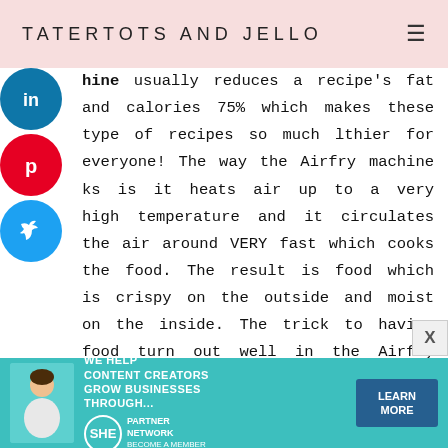TATERTOTS AND JELLO
chine usually reduces a recipe's fat and calories 75% which makes these type of recipes so much lthier for everyone! The way the Airfry machine ks is it heats air up to a very high temperature and it circulates the air around VERY fast which cooks the food. The result is food which is crispy on the outside and moist on the inside. The trick to having food turn out well in the Airfry machine is not crowding the food on the airfry pan so that air can circulate freely. The downside is that you can't cook huge quantities of food at once. For this recipe I
[Figure (infographic): Advertisement banner for SHE Media Partner Network: 'We help content creators grow businesses through...' with a Learn More button]